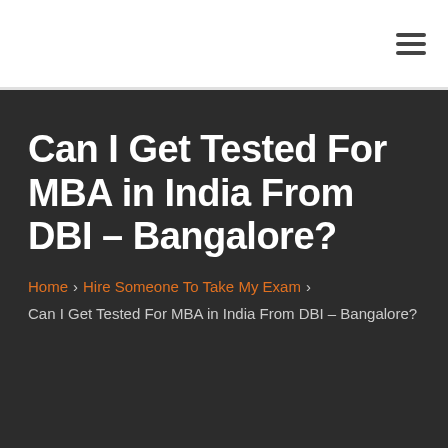≡
Can I Get Tested For MBA in India From DBI – Bangalore?
Home › Hire Someone To Take My Exam › Can I Get Tested For MBA in India From DBI – Bangalore?